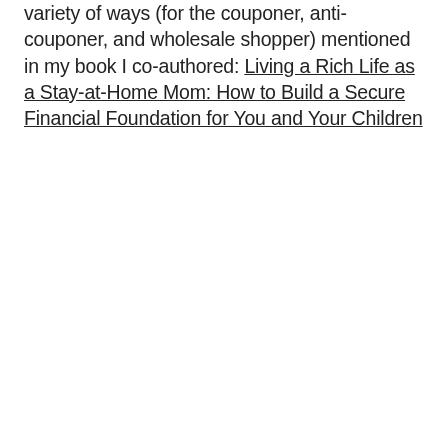variety of ways (for the couponer, anti-couponer, and wholesale shopper) mentioned in my book I co-authored: Living a Rich Life as a Stay-at-Home Mom: How to Build a Secure Financial Foundation for You and Your Children